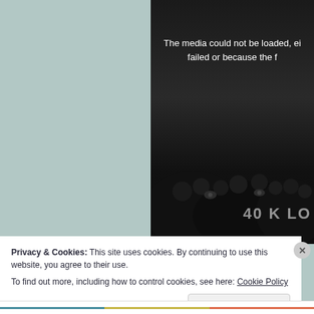[Figure (screenshot): Screenshot of a webpage with a muted teal background on the left and a dark video player area on the right showing a media error message 'The media could not be loaded, ei... failed or because the f...' with dark hair/figure silhouette imagery and '40 K LO' watermark text]
•
Privacy & Cookies: This site uses cookies. By continuing to use this website, you agree to their use.
To find out more, including how to control cookies, see here: Cookie Policy
Close and accept